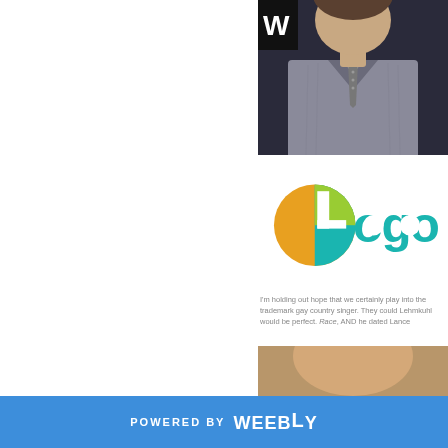[Figure (photo): Man in gray checked suit jacket and dotted tie at an event, partial crop showing torso and lower face]
[Figure (logo): Logo TV channel logo - circular logo with teal, green, yellow-orange colors and 'Logo' text in teal]
I'm holding out hope that we certainly play into the trademark gay country singer. They could Lehmkuhl would be perfect. Race, AND he dated Lance
[Figure (photo): Partial bottom photo strip showing a person, cropped]
POWERED BY weebly